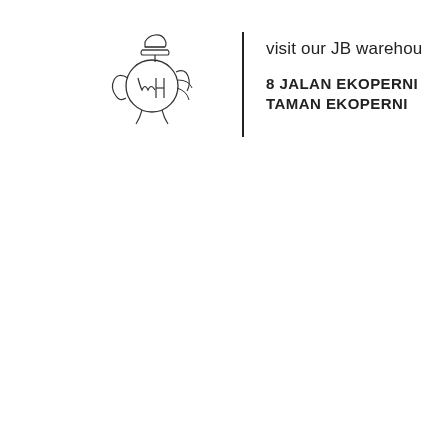[Figure (logo): Line-art logo of a figure with circular body, arms raised, and abstract strokes forming letters MH or similar, drawn in a single continuous line style]
visit our JB warehou
8 JALAN EKOPERNI
TAMAN EKOPERNI